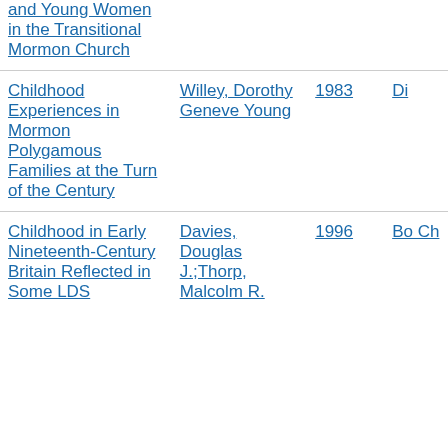| Title | Author | Year | Type |
| --- | --- | --- | --- |
| and Young Women in the Transitional Mormon Church |  |  |  |
| Childhood Experiences in Mormon Polygamous Families at the Turn of the Century | Willey, Dorothy Geneve Young | 1983 | Di... |
| Childhood in Early Nineteenth-Century Britain Reflected in Some LDS | Davies, Douglas J.;Thorp, Malcolm R. | 1996 | Bo... Ch... |